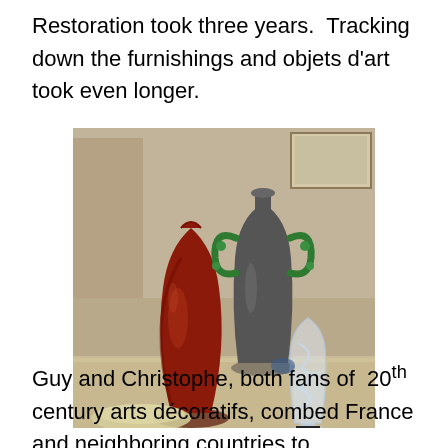Restoration took three years.  Tracking down the furnishings and objets d'art took even longer.
[Figure (photo): Photograph of three decorative objects on a table: a dark red/maroon ceramic bottle vase on the left, a gray/dark urn-shaped vase with green figurine handles in the center-back, and a clear crystal glass with swirling pattern on the right, set against a warm interior background.]
Guy and Christophe, both fans of 20th century arts décoratifs, combed France and neighboring countries to